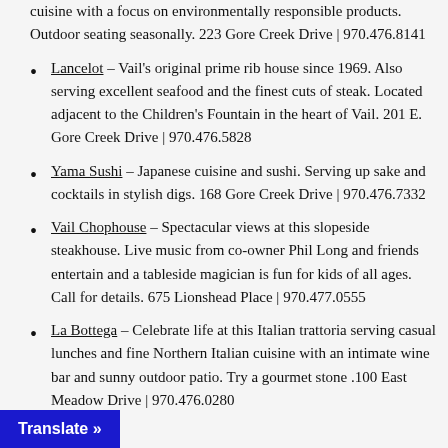cuisine with a focus on environmentally responsible products. Outdoor seating seasonally. 223 Gore Creek Drive | 970.476.8141
Lancelot – Vail's original prime rib house since 1969. Also serving excellent seafood and the finest cuts of steak. Located adjacent to the Children's Fountain in the heart of Vail. 201 E. Gore Creek Drive | 970.476.5828
Yama Sushi – Japanese cuisine and sushi. Serving up sake and cocktails in stylish digs. 168 Gore Creek Drive | 970.476.7332
Vail Chophouse – Spectacular views at this slopeside steakhouse. Live music from co-owner Phil Long and friends entertain and a tableside magician is fun for kids of all ages. Call for details. 675 Lionshead Place | 970.477.0555
La Bottega – Celebrate life at this Italian trattoria serving casual lunches and fine Northern Italian cuisine with an intimate wine bar and sunny outdoor patio. Try a gourmet stone .100 East Meadow Drive | 970.476.0280